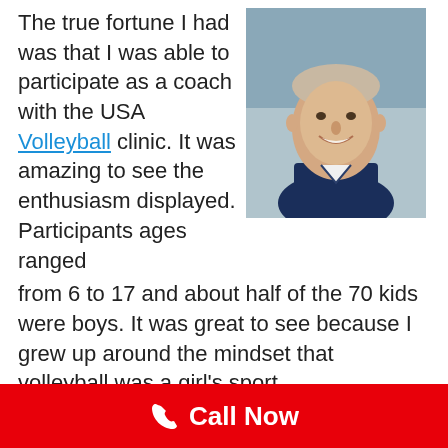The true fortune I had was that I was able to participate as a coach with the USA Volleyball clinic. It was amazing to see the enthusiasm displayed. Participants ages ranged from 6 to 17 and about half of the 70 kids were boys. It was great to see because I grew up around the mindset that volleyball was a girl's sport. We as a coaching staff realized that we had only an hour and a half which wouldn't be enough time to change many technical problems the participants might have. Instead, we tried to maximize the amount of knowledge that we gave them so that later down
[Figure (photo): Headshot of a smiling man wearing a dark navy polo shirt, photographed against an outdoor background.]
Call Now